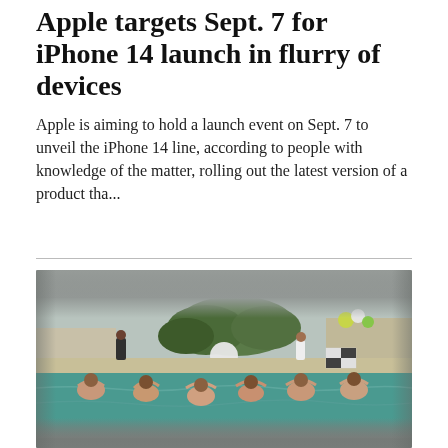Apple targets Sept. 7 for iPhone 14 launch in flurry of devices
Apple is aiming to hold a launch event on Sept. 7 to unveil the iPhone 14 line, according to people with knowledge of the matter, rolling out the latest version of a product tha...
[Figure (photo): Outdoor pool party scene with several women in the swimming pool raising their arms, with balloons and trees visible in the background, blurred vignette effect around the edges.]